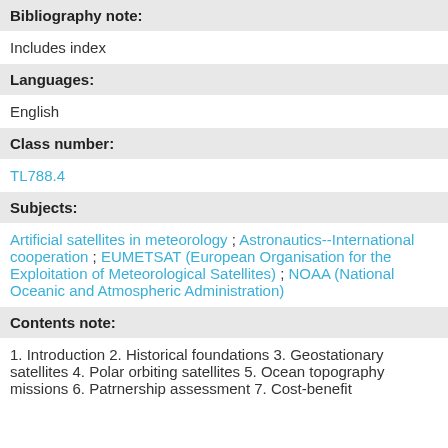Bibliography note:
Includes index
Languages:
English
Class number:
TL788.4
Subjects:
Artificial satellites in meteorology ; Astronautics--International cooperation ; EUMETSAT (European Organisation for the Exploitation of Meteorological Satellites) ; NOAA (National Oceanic and Atmospheric Administration)
Contents note:
1. Introduction 2. Historical foundations 3. Geostationary satellites 4. Polar orbiting satellites 5. Ocean topography missions 6. Patrnership assessment 7. Cost-benefit